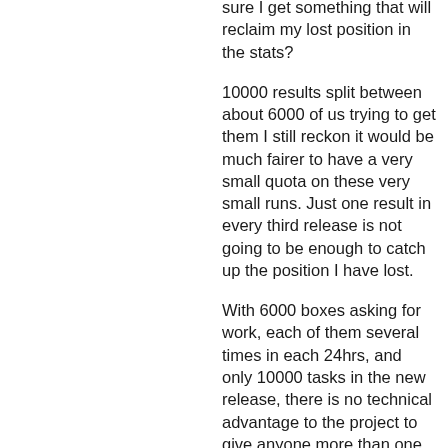sure I get something that will reclaim my lost position in the stats?
10000 results split between about 6000 of us trying to get them I still reckon it would be much fairer to have a very small quota on these very small runs. Just one result in every third release is not going to be enough to catch up the position I have lost.
With 6000 boxes asking for work, each of them several times in each 24hrs, and only 10000 tasks in the new release, there is no technical advantage to the project to give anyone more than one or two tasks at a time, much less than to give 43 tasks to a 600MHz box that will take a many days to crunch them. The only technical